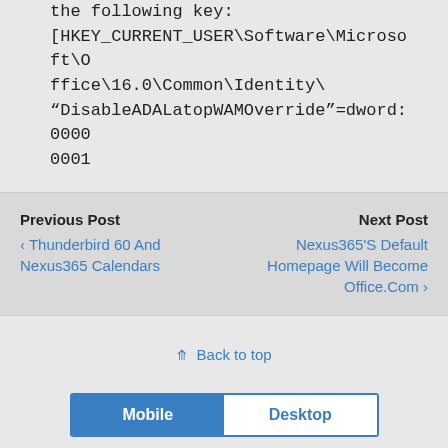the following key:
[HKEY_CURRENT_USER\Software\Microsoft\Office\16.0\Common\Identity\
"DisableADALatopWAMOverride"=dword:00000001
Previous Post
‹ Thunderbird 60 And Nexus365 Calendars
Next Post
Nexus365'S Default Homepage Will Become Office.Com ›
⇑ Back to top
Mobile   Desktop